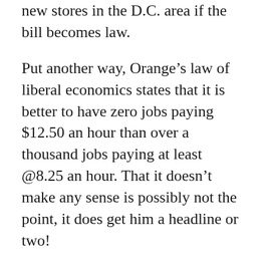confirmed it will cancel the build-out of three new stores in the D.C. area if the bill becomes law.
Put another way, Orange's law of liberal economics states that it is better to have zero jobs paying $12.50 an hour than over a thousand jobs paying at least @8.25 an hour. That it doesn't make any sense is possibly not the point, it does get him a headline or two!
D.C.'s unemployment rate is already around 8.6%, one of the highest in the nation, and 20% of the population in the D.C. area lives below the poverty line. So the prospect of Wal-Mart bringing an additional 1,800 jobs to the city is something that the local politicians should be